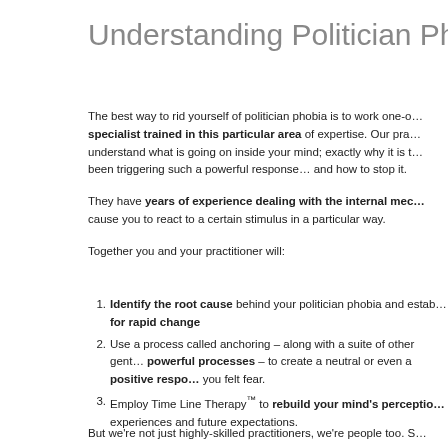Understanding Politician Phob…
The best way to rid yourself of politician phobia is to work one-o… specialist trained in this particular area of expertise. Our pra… understand what is going on inside your mind; exactly why it is t… been triggering such a powerful response… and how to stop it.
They have years of experience dealing with the internal mec… cause you to react to a certain stimulus in a particular way.
Together you and your practitioner will:
Identify the root cause behind your politician phobia and estab… for rapid change
Use a process called anchoring – along with a suite of other gent… powerful processes – to create a neutral or even a positive respo… you felt fear.
Employ Time Line Therapy™ to rebuild your mind's perceptio… experiences and future expectations.
But we're not just highly-skilled practitioners, we're people too. S…